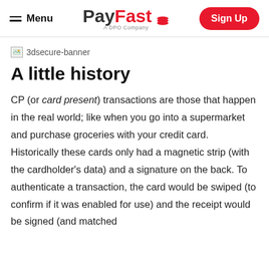Menu | PayFast A DPO Company | Sign Up
[Figure (other): Broken image placeholder labeled '3dsecure-banner']
A little history
CP (or card present) transactions are those that happen in the real world; like when you go into a supermarket and purchase groceries with your credit card. Historically these cards only had a magnetic strip (with the cardholder's data) and a signature on the back. To authenticate a transaction, the card would be swiped (to confirm if it was enabled for use) and the receipt would be signed (and matched